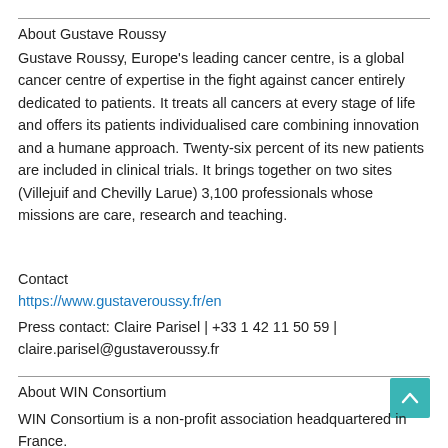About Gustave Roussy
Gustave Roussy, Europe's leading cancer centre, is a global cancer centre of expertise in the fight against cancer entirely dedicated to patients. It treats all cancers at every stage of life and offers its patients individualised care combining innovation and a humane approach. Twenty-six percent of its new patients are included in clinical trials. It brings together on two sites (Villejuif and Chevilly Larue) 3,100 professionals whose missions are care, research and teaching.
Contact
https://www.gustaveroussy.fr/en
Press contact: Claire Parisel | +33 1 42 11 50 59 | claire.parisel@gustaveroussy.fr
About WIN Consortium
WIN Consortium is a non-profit association headquartered in France.